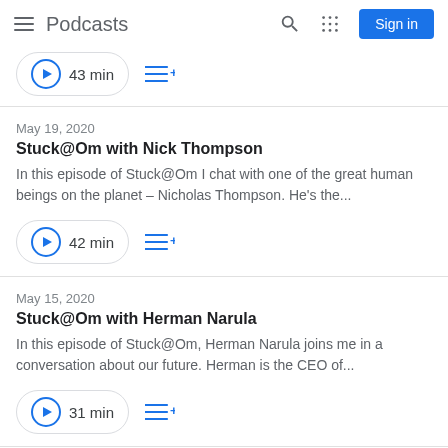Podcasts
43 min
May 19, 2020
Stuck@Om with Nick Thompson
In this episode of Stuck@Om I chat with one of the great human beings on the planet – Nicholas Thompson. He's the...
42 min
May 15, 2020
Stuck@Om with Herman Narula
In this episode of Stuck@Om, Herman Narula joins me in a conversation about our future. Herman is the CEO of...
31 min
May 1, 2020